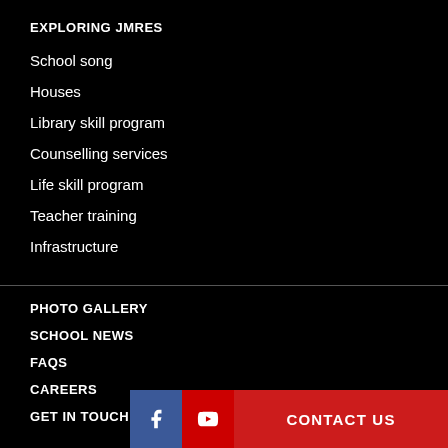EXPLORING JMRES
School song
Houses
Library skill program
Counselling services
Life skill program
Teacher training
Infrastructure
PHOTO GALLERY
SCHOOL NEWS
FAQS
CAREERS
GET IN TOUCH
CONTACT US